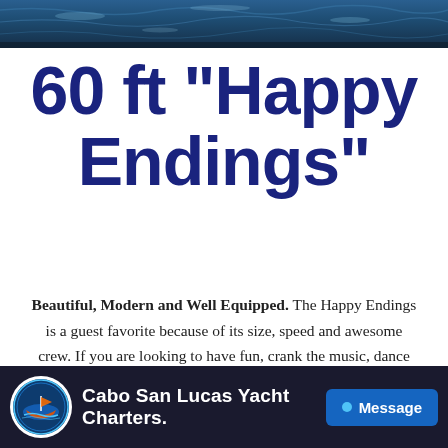[Figure (photo): Aerial/overhead view of ocean water at the top of the page as a decorative banner strip]
60 ft "Happy Endings"
Beautiful, Modern and Well Equipped. The Happy Endings is a guest favorite because of its size, speed and awesome crew. If you are looking to have fun, crank the music, dance and enjoy your vacation in style this is the yacht for you.
[Figure (screenshot): Dark bottom bar showing Cabo San Lucas Yacht Charters logo (circular badge with boat imagery), brand name text, and a blue Message button]